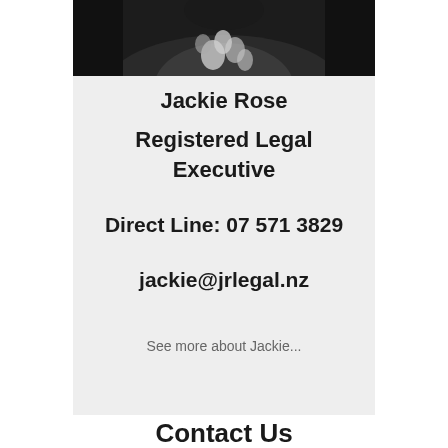[Figure (photo): Top portion of a person wearing dark clothing with a patterned garment (black and white floral/abstract pattern), cropped at shoulders]
Jackie Rose
Registered Legal Executive
Direct Line: 07 571 3829
jackie@jrlegal.nz
See more about Jackie...
Contact Us